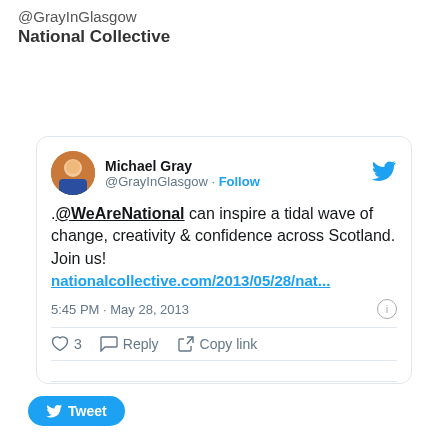@GrayInGlasgow
National Collective
[Figure (screenshot): Embedded tweet from Michael Gray (@GrayInGlasgow) reading: '.@WeAreNational can inspire a tidal wave of change, creativity & confidence across Scotland. Join us! nationalcollective.com/2013/05/28/nat...' posted at 5:45 PM · May 28, 2013, with 3 likes, Reply and Copy link actions.]
Tweet